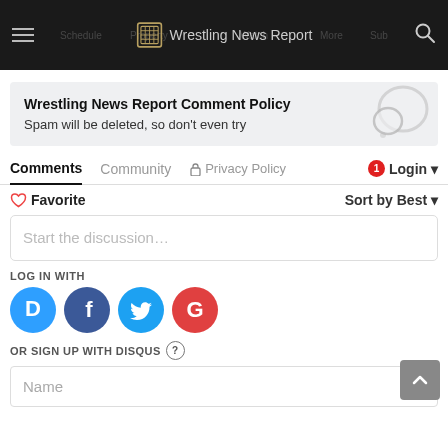Wrestling News Report
Wrestling News Report Comment Policy
Spam will be deleted, so don't even try
Comments  Community  Privacy Policy  1  Login
♡ Favorite   Sort by Best
Start the discussion...
LOG IN WITH
[Figure (infographic): Social login icons: Disqus (blue circle with D), Facebook (dark blue circle with f), Twitter (cyan circle with bird), Google (red circle with G)]
OR SIGN UP WITH DISQUS ?
Name